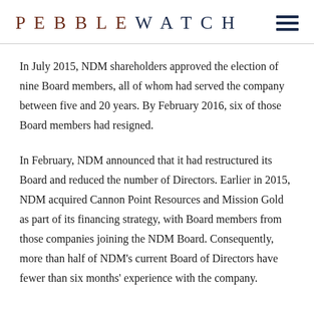PEBBLEWATCH
In July 2015, NDM shareholders approved the election of nine Board members, all of whom had served the company between five and 20 years. By February 2016, six of those Board members had resigned.
In February, NDM announced that it had restructured its Board and reduced the number of Directors. Earlier in 2015, NDM acquired Cannon Point Resources and Mission Gold as part of its financing strategy, with Board members from those companies joining the NDM Board. Consequently, more than half of NDM's current Board of Directors have fewer than six months' experience with the company.